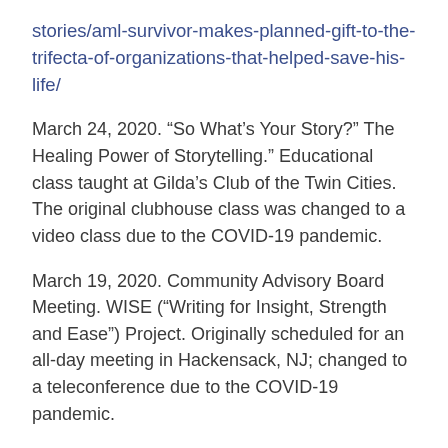stories/aml-survivor-makes-planned-gift-to-the-trifecta-of-organizations-that-helped-save-his-life/
March 24, 2020. “So What’s Your Story?” The Healing Power of Storytelling.” Educational class taught at Gilda’s Club of the Twin Cities. The original clubhouse class was changed to a video class due to the COVID-19 pandemic.
March 19, 2020. Community Advisory Board Meeting. WISE (“Writing for Insight, Strength and Ease”) Project. Originally scheduled for an all-day meeting in Hackensack, NJ; changed to a teleconference due to the COVID-19 pandemic.
November 15, 2019. “My Transplant Experience